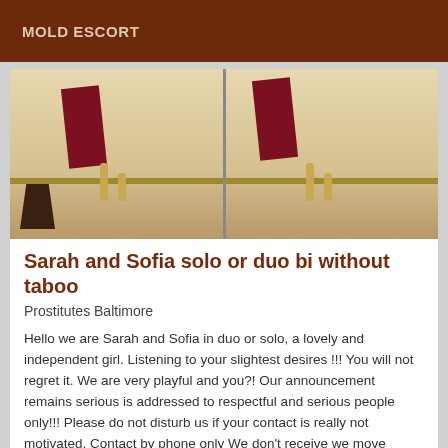MOLD ESCORT
[Figure (photo): Two side-by-side photos of a bathroom bathtub with gold faucets and a dark red towel hanging on the side.]
Sarah and Sofia solo or duo bi without taboo
Prostitutes Baltimore
Hello we are Sarah and Sofia in duo or solo, a lovely and independent girl. Listening to your slightest desires !!! You will not regret it. We are very playful and you?! Our announcement remains serious is addressed to respectful and serious people only!!! Please do not disturb us if your contact is really not motivated. Contact by phone only We don't receive we move
VIP